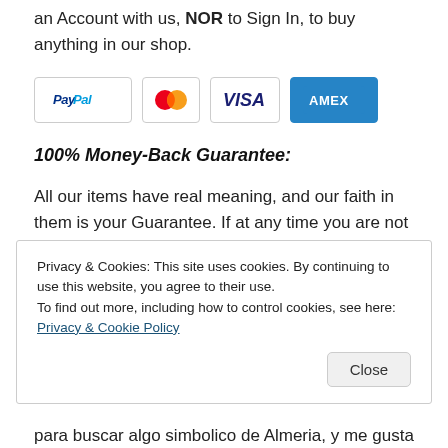an Account with us, NOR to Sign In, to buy anything in our shop.
[Figure (other): Payment method logos: PayPal, Mastercard, Visa, American Express]
100% Money-Back Guarantee:
All our items have real meaning, and our faith in them is your Guarantee. If at any time you are not happy with anything, we'll refund your money – no questions asked. Just Contact Us for a Returns Number, re-package the item...
Privacy & Cookies: This site uses cookies. By continuing to use this website, you agree to their use.
To find out more, including how to control cookies, see here: Privacy & Cookie Policy
para buscar algo simbolico de Almeria, y me gusta su